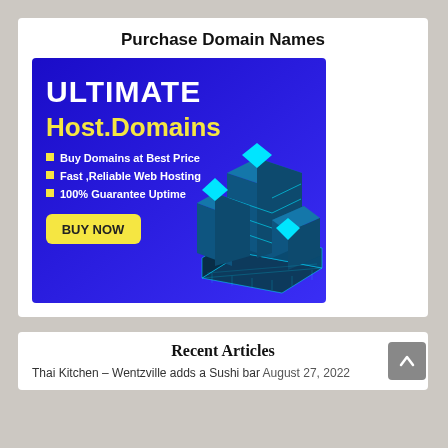Purchase Domain Names
[Figure (advertisement): Web hosting advertisement banner with blue gradient background. Shows 'ULTIMATE Host.Domains' in large text, bullet points: 'Buy Domains at Best Price', 'Fast, Reliable Web Hosting', '100% Guarantee Uptime', a yellow 'BUY NOW' button, and a 3D isometric server/building illustration in teal/cyan on the right.]
Recent Articles
Thai Kitchen – Wentzville adds a Sushi bar August 27, 2022